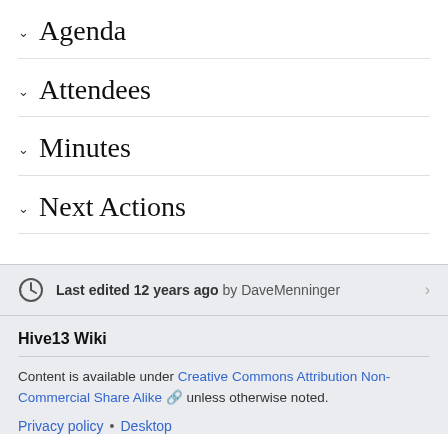Agenda
Attendees
Minutes
Next Actions
Last edited 12 years ago by DaveMenninger
Hive13 Wiki
Content is available under Creative Commons Attribution Non-Commercial Share Alike unless otherwise noted.
Privacy policy • Desktop